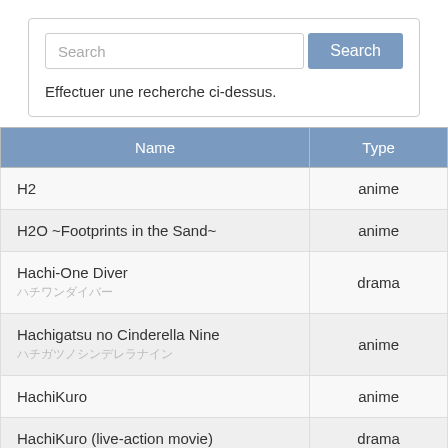[Figure (screenshot): Search input box with placeholder text 'Search' and a blue 'Search' button]
Effectuer une recherche ci-dessus.
| Name | Type |
| --- | --- |
| H2 | anime |
| H2O ~Footprints in the Sand~ | anime |
| Hachi-One Diver
ハチワンダイバー | drama |
| Hachigatsu no Cinderella Nine
ハチガツノシンデレラナイン | anime |
| HachiKuro | anime |
| HachiKuro (live-action movie) | drama |